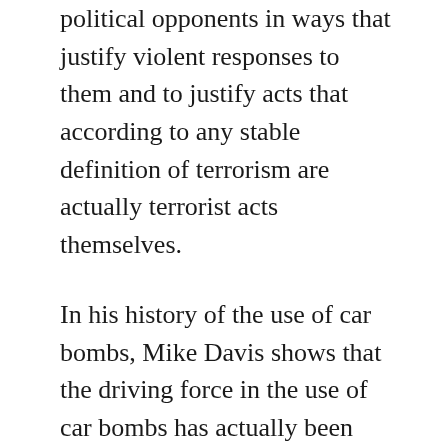political opponents in ways that justify violent responses to them and to justify acts that according to any stable definition of terrorism are actually terrorist acts themselves.
In his history of the use of car bombs, Mike Davis shows that the driving force in the use of car bombs has actually been covert American operatives and allies such as Israel.[20]  This illustrates how tactics that clearly to fit the U.S. Army's definition of “terrorism” are not generally defined as “terrorism” when used by status quo powers.
The use of terrorist methods (which by definition